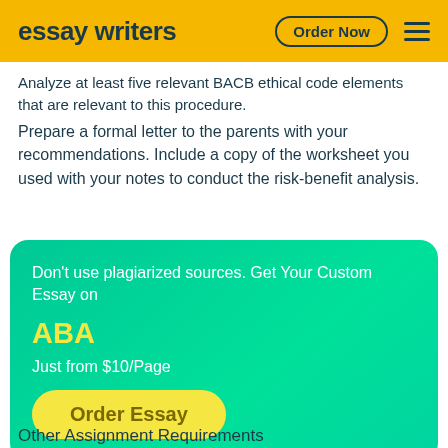essay writers | Order Now
Analyze at least five relevant BACB ethical code elements that are relevant to this procedure.
Prepare a formal letter to the parents with your recommendations. Include a copy of the worksheet you used with your notes to conduct the risk-benefit analysis.
Don't use plagiarized sources. Get Your Custom Essay on
ABA
Just from $10/Page
Order Essay
Other Assignment Requirements